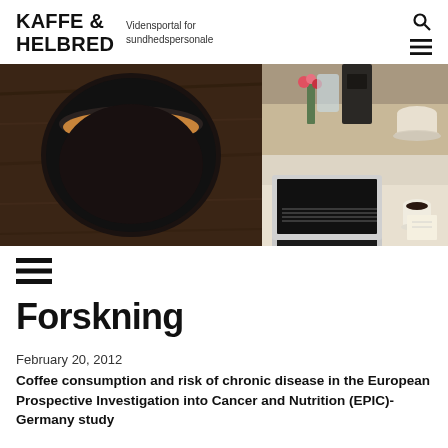KAFFE & HELBRED — Vidensportal for sundhedspersonale
[Figure (photo): Collage of coffee-related photos: left large image shows a black mug with coffee from above on a wooden surface; top-right shows a cafe table with coffee cups and flowers; bottom-right shows a laptop and coffee cup on a desk.]
[Figure (infographic): Hamburger menu icon (three horizontal lines)]
Forskning
February 20, 2012
Coffee consumption and risk of chronic disease in the European Prospective Investigation into Cancer and Nutrition (EPIC)- Germany study